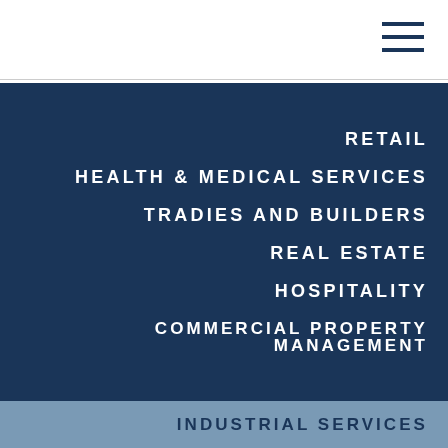[Figure (other): Hamburger menu icon (three horizontal lines) in the top right corner of the page header]
RETAIL
HEALTH & MEDICAL SERVICES
TRADIES AND BUILDERS
REAL ESTATE
HOSPITALITY
COMMERCIAL PROPERTY MANAGEMENT
INDUSTRIAL SERVICES